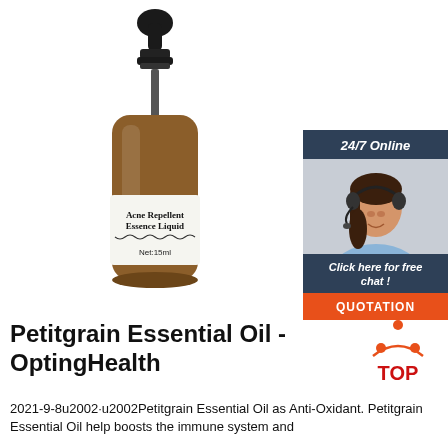[Figure (photo): A brown glass dropper bottle labeled 'Acne Repellent Essence Liquid, Net:15ml' on a white background]
[Figure (infographic): 24/7 Online chat widget with a woman wearing a headset, 'Click here for free chat!' text, and an orange QUOTATION button]
Petitgrain Essential Oil - OptingHealth
[Figure (logo): TOP logo with orange triangular dots forming an upward arrow above the word TOP in red]
2021-9-8u2002·u2002Petitgrain Essential Oil as Anti-Oxidant. Petitgrain Essential Oil help boosts the immune system and